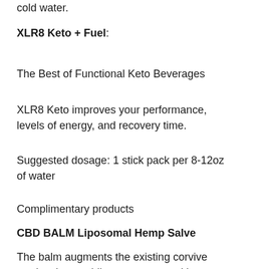cold water.
XLR8 Keto + Fuel:
The Best of Functional Keto Beverages
XLR8 Keto improves your performance, levels of energy, and recovery time.
Suggested dosage: 1 stick pack per 8-12oz of water
Complimentary products
CBD BALM Liposomal Hemp Salve
The balm augments the existing corvive product by providing consumers with a trans